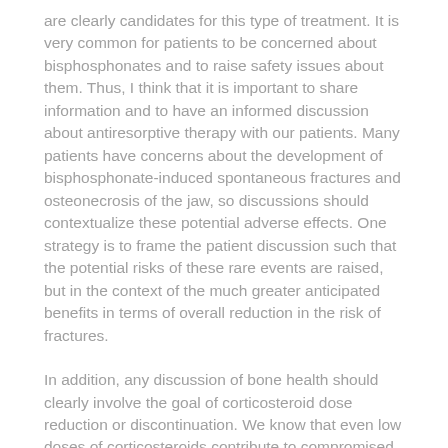are clearly candidates for this type of treatment. It is very common for patients to be concerned about bisphosphonates and to raise safety issues about them. Thus, I think that it is important to share information and to have an informed discussion about antiresorptive therapy with our patients. Many patients have concerns about the development of bisphosphonate-induced spontaneous fractures and osteonecrosis of the jaw, so discussions should contextualize these potential adverse effects. One strategy is to frame the patient discussion such that the potential risks of these rare events are raised, but in the context of the much greater anticipated benefits in terms of overall reduction in the risk of fractures.
In addition, any discussion of bone health should clearly involve the goal of corticosteroid dose reduction or discontinuation. We know that even low doses of corticosteroids contribute to compromised bone health and